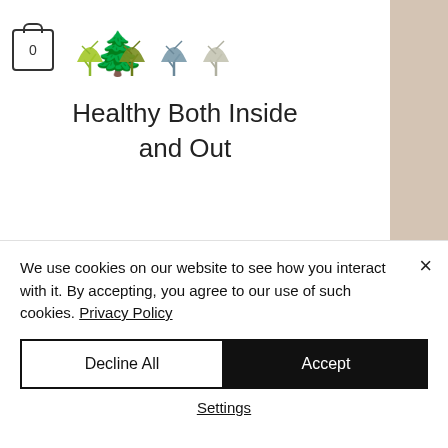[Figure (logo): Four stylized tree icons in green, olive, gray-blue, and light gray colors forming a logo]
Healthy Both Inside and Out
breasts. This allows a woman time to take a pro-active approach by working with us to improve her breast health. By maintaining close monitoring of her breast health with infrared imaging, self-
We use cookies on our website to see how you interact with it. By accepting, you agree to our use of such cookies. Privacy Policy
Decline All
Accept
Settings